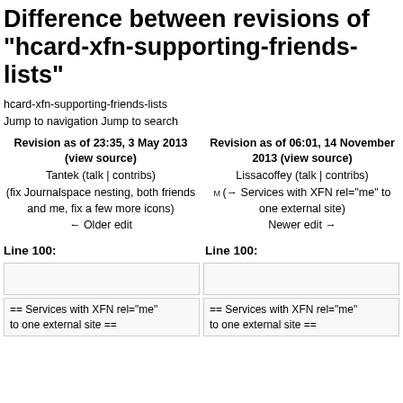Difference between revisions of "hcard-xfn-supporting-friends-lists"
hcard-xfn-supporting-friends-lists
Jump to navigation Jump to search
Revision as of 23:35, 3 May 2013 (view source)
Tantek (talk | contribs)
(fix Journalspace nesting, both friends and me, fix a few more icons)
← Older edit
Revision as of 06:01, 14 November 2013 (view source)
Lissacoffey (talk | contribs)
m (→Services with XFN rel="me" to one external site)
Newer edit →
Line 100:
Line 100:
== Services with XFN rel="me" to one external site ==
== Services with XFN rel="me" to one external site ==